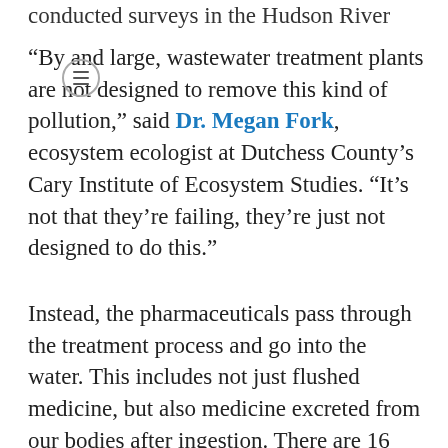conducted surveys in the Hudson River estuary.
“By and large, wastewater treatment plants are not designed to remove this kind of pollution,” said Dr. Megan Fork, ecosystem ecologist at Dutchess County’s Cary Institute of Ecosystem Studies. “It’s not that they’re failing, they’re just not designed to do this.”
Instead, the pharmaceuticals pass through the treatment process and go into the water. This includes not just flushed medicine, but also medicine excreted from our bodies after ingestion. There are 16 communities in the Hudson River Watershed that rely on combined sewer systems that overflow into the Hudson